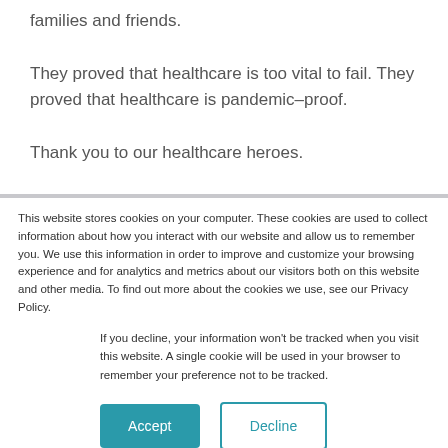families and friends.
They proved that healthcare is too vital to fail. They proved that healthcare is pandemic-proof.
Thank you to our healthcare heroes.
This website stores cookies on your computer. These cookies are used to collect information about how you interact with our website and allow us to remember you. We use this information in order to improve and customize your browsing experience and for analytics and metrics about our visitors both on this website and other media. To find out more about the cookies we use, see our Privacy Policy.
If you decline, your information won't be tracked when you visit this website. A single cookie will be used in your browser to remember your preference not to be tracked.
Accept
Decline